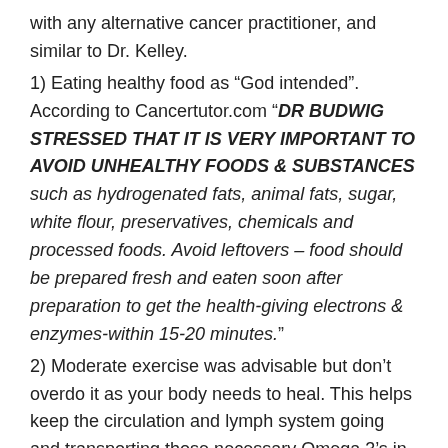with any alternative cancer practitioner, and similar to Dr. Kelley.
1) Eating healthy food as “God intended”. According to Cancertutor.com “DR BUDWIG STRESSED THAT IT IS VERY IMPORTANT TO AVOID UNHEALTHY FOODS & SUBSTANCES such as hydrogenated fats, animal fats, sugar, white flour, preservatives, chemicals and processed foods. Avoid leftovers – food should be prepared fresh and eaten soon after preparation to get the health-giving electrons & enzymes-within 15-20 minutes.”
2) Moderate exercise was advisable but don’t overdo it as your body needs to heal. This helps keep the circulation and lymph system going and transporting those necessary Omega 3’s in the blood.
3) At least 3x a day drink a warm liquid, such as green or herbal teas, sweeten only with raw honey.